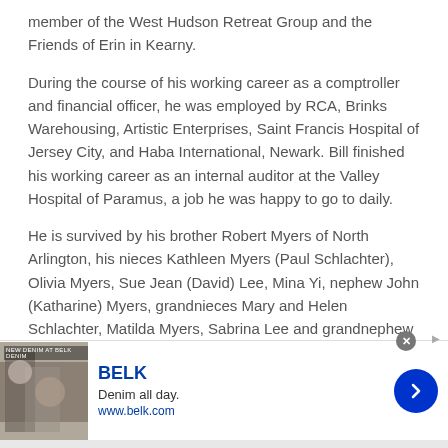member of the West Hudson Retreat Group and the Friends of Erin in Kearny.
During the course of his working career as a comptroller and financial officer, he was employed by RCA, Brinks Warehousing, Artistic Enterprises, Saint Francis Hospital of Jersey City, and Haba International, Newark. Bill finished his working career as an internal auditor at the Valley Hospital of Paramus, a job he was happy to go to daily.
He is survived by his brother Robert Myers of North Arlington, his nieces Kathleen Myers (Paul Schlachter), Olivia Myers, Sue Jean (David) Lee, Mina Yi, nephew John (Katharine) Myers, grandnieces Mary and Helen Schlachter, Matilda Myers, Sabrina Lee and grandnephew
[Figure (other): BELK advertisement banner: image of women in denim on left, BELK brand name in blue, tagline 'Denim all day.' and URL 'www.belk.com', blue circular arrow button on right. Close button (X) on top.]